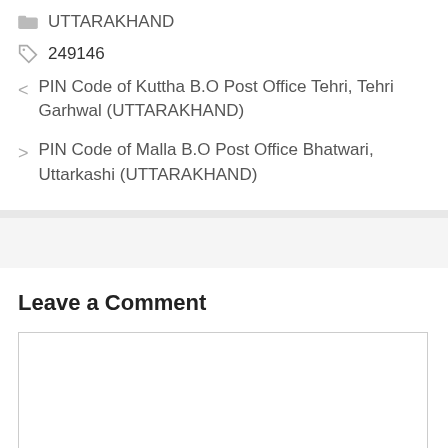UTTARAKHAND
249146
PIN Code of Kuttha B.O Post Office Tehri, Tehri Garhwal (UTTARAKHAND)
PIN Code of Malla B.O Post Office Bhatwari, Uttarkashi (UTTARAKHAND)
Leave a Comment